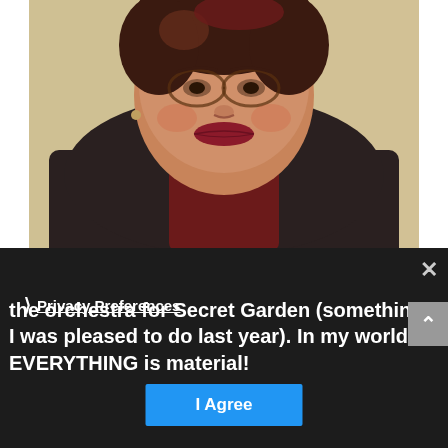[Figure (photo): Portrait of a woman with dark hair wearing a dark scarf and dark red turtleneck, looking slightly upward, photographed from shoulders up against a light background.]
Actually, the next thriller has a scene in which my main character plays cello in the orchestra for Secret Garden (something I was pleased to do last year). In my world, EVERYTHING is material!
Privacy Preferences
I Agree